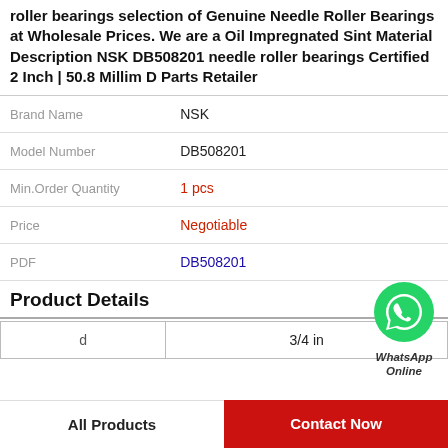Roller bearings selection of Genuine Needle Roller Bearings at Wholesale Prices. We are a Oil Impregnated Sint Material Description NSK DB508201 needle roller bearings Certified 2 Inch | 50.8 Millim D Parts Retailer
| Field | Value |
| --- | --- |
| Brand Name | NSK |
| Model Number | DB508201 |
| Min.Order Quantity | 1 pcs |
| Price | Negotiable |
| PDF | DB508201 |
[Figure (logo): WhatsApp Online green phone icon with label 'WhatsApp Online']
Product Details
| d | 3/4 in |
| --- | --- |
| d | 3/4 in |